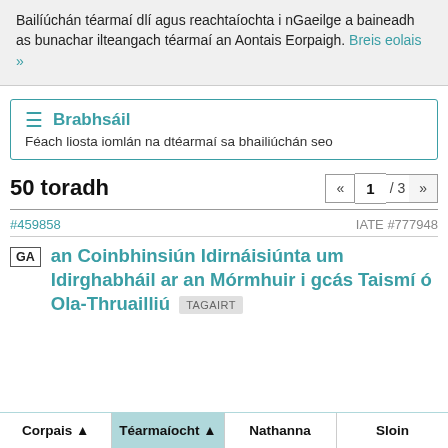Bailíúchán téarmaí dlí agus reachtaíochta i nGaeilge a baineadh as bunachar ilteangach téarmaí an Aontais Eorpaigh. Breis eolais »
Brabhsáil
Féach liosta iomlán na dtéarmaí sa bhailiúchán seo
50 toradh
« 1 / 3 »
#459858
IATE #777948
GA an Coinbhinsiún Idirnáisiúnta um Idirghabháil ar an Mórmhuir i gcás Taismí ó Ola-Thruailliú TAGAIRT
Corpais ▲  Téarmaíocht ▲  Nathanna  Sloin